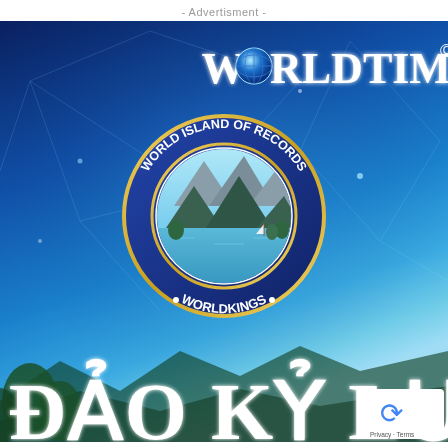- Advertisment -
[Figure (logo): World Times Land advertisement banner with blue gradient background, featuring the WorldTimesLand logo text at top with a globe icon, a circular seal reading 'WORLD ISLAND OF RECORDS WORLDKINGS' with an island landscape illustration in the center, and large Vietnamese text 'ĐẢO KỶ LỤC' at the bottom. A reCAPTCHA badge appears in the lower right.]